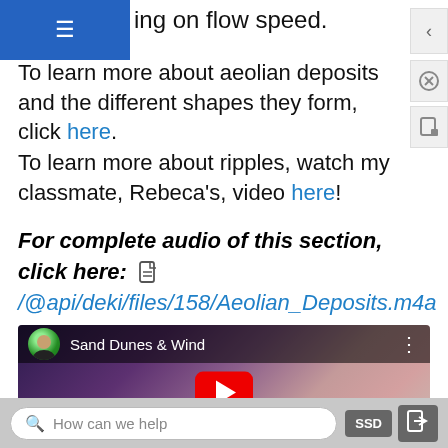ing on flow speed.
To learn more about aeolian deposits and the different shapes they form, click here.
To learn more about ripples, watch my classmate, Rebeca's, video here!
For complete audio of this section, click here: /@api/deki/files/158/Aeolian_Deposits.m4a
[Figure (screenshot): Embedded YouTube video player showing 'Sand Dunes & Wind' with a purple/pink sand dune background, a play button, and a presenter avatar.]